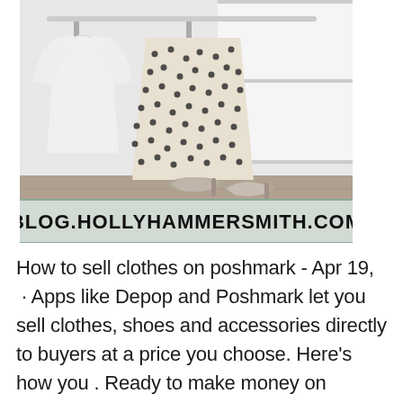[Figure (photo): Clothing hanging on a rack in a bright white closet — a white shirt and a black-and-white polka-dot skirt — with metallic heeled shoes on the floor beneath. A banner at the bottom of the image reads BLOG.HOLLYHAMMERSMITH.COM in bold black letters on a light background.]
How to sell clothes on poshmark - Apr 19, · Apps like Depop and Poshmark let you sell clothes, shoes and accessories directly to buyers at a price you choose. Here's how you . Ready to make money on Poshmark? Download the free app to